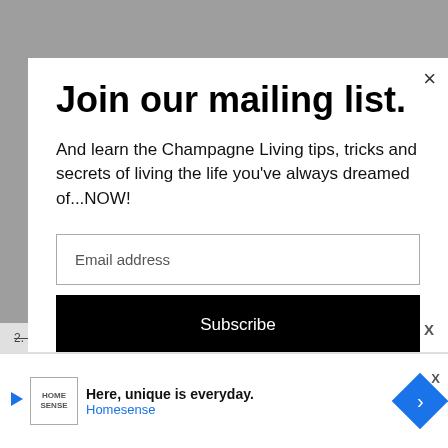Join our mailing list.
And learn the Champagne Living tips, tricks and secrets of living the life you've always dreamed of...NOW!
Email address
Subscribe
2. Follow Champagne Living – on the sidebar
Here, unique is everyday. Homesense